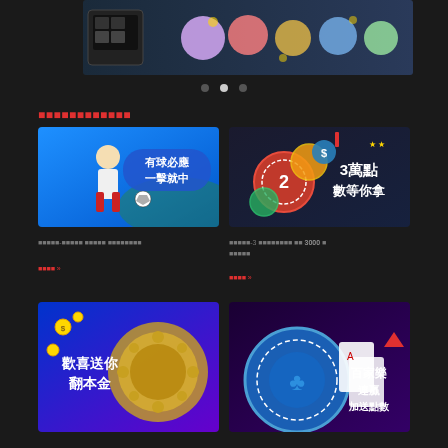[Figure (screenshot): Top banner showing casino/game characters on dark background]
[Figure (infographic): Navigation dots for carousel, center dot active]
活動中心（最新優惠）
[Figure (photo): Sports betting promo: soccer player kicking ball with text 有球必應 一擊就中]
[Figure (photo): Points promo: casino chips with text 3萬點數等你拿]
體育館-有球必應 一擊就中優惠活動說明
繼續閱讀 »
活動館-3 月份最新活動 送 3000 點 獎勵金
繼續閱讀 »
[Figure (photo): Welcome bonus promo: machine with text 歡喜送你翻本金]
[Figure (photo): Baccarat promo: blue chip with text 百家樂連贏加送點數]